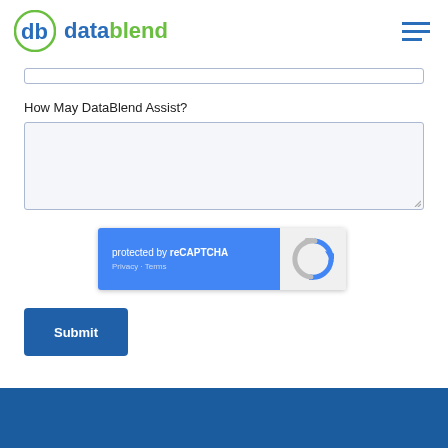datablend
How May DataBlend Assist?
[Figure (screenshot): reCAPTCHA widget with blue left panel showing 'protected by reCAPTCHA' and Privacy - Terms links, and white right panel with Google reCAPTCHA logo]
Submit